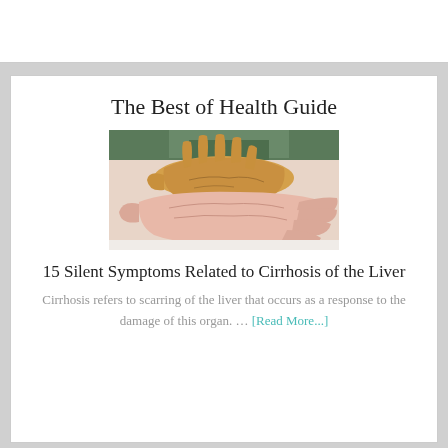The Best of Health Guide
[Figure (photo): Two hands resting on a white surface — one yellowish/jaundiced hand on top of a paler hand, illustrating jaundice symptom of cirrhosis]
15 Silent Symptoms Related to Cirrhosis of the Liver
Cirrhosis refers to scarring of the liver that occurs as a response to the damage of this organ. … [Read More...]